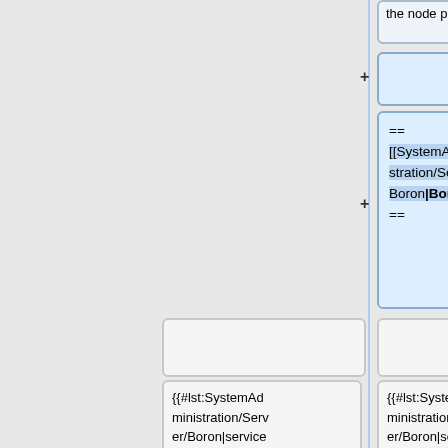[Figure (screenshot): Diff view showing two columns of wiki markup boxes. Left column (yellow/white boxes) shows original content; right column (blue boxes) shows new/changed content. Changes include addition of [[SystemAdministration/Server/Boron|Boron]] heading, transclusion of {{#lst:SystemAdministration/Server/Boron|services}}, and == Lithium == heading changed to [[SystemAdministration/Server/Lithium|Lithium]] link.]